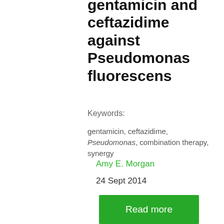gentamicin and ceftazidime against Pseudomonas fluorescens
Keywords:
gentamicin, ceftazidime, Pseudomonas, combination therapy, synergy
Amy E. Morgan
24 Sept 2014
[Figure (other): Green 'Read more' button]
Sensitivity, specificity and responsiveness of magnetic resonance